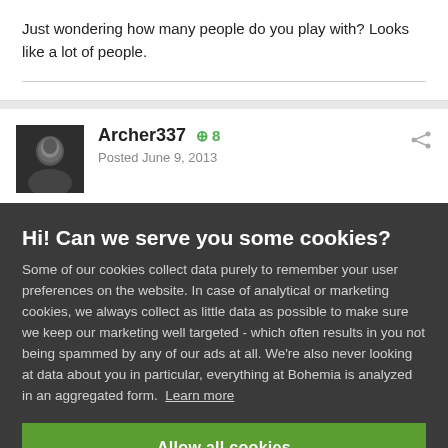Just wondering how many people do you play with? Looks like a lot of people.
Archer337  +8
Posted June 9, 2013
Hi! Can we serve you some cookies?
Some of our cookies collect data purely to remember your user preferences on the website. In case of analytical or marketing cookies, we always collect as little data as possible to make sure we keep our marketing well targeted - which often results in you not being spammed by any of our ads at all. We're also never looking at data about you in particular, everything at Bohemia is analyzed in an aggregated form. Learn more
Allow all cookies
I want more options